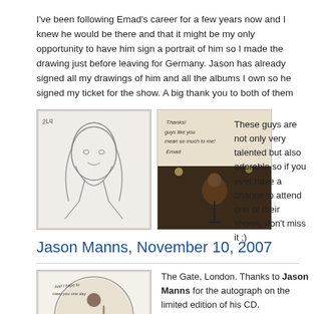I've been following Emad's career for a few years now and I knew he would be there and that it might be my only opportunity to have him sign a portrait of him so I made the drawing just before leaving for Germany. Jason has already signed all my drawings of him and all the albums I own so he signed my ticket for the show. A big thank you to both of them
[Figure (photo): Pencil portrait sketch of a young man with long hair and beard]
[Figure (photo): Signed photo/artwork with handwritten text and image of performer on stage]
These guys are not only very talented but also adorable so if you ever have a chance to attend one of their shows, don't miss it ;)
Jason Manns, November 10, 2007
[Figure (photo): Signed CD artwork showing a musician with guitar, circular image with handwritten autograph]
The Gate, London. Thanks to Jason Manns for the autograph on the limited edition of his CD.

You can see the work in progress for this drawing in